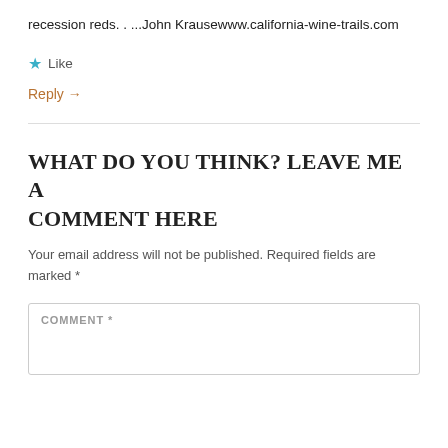recession reds. . ...John Krausewww.california-wine-trails.com
★ Like
Reply →
What do you think? Leave me a comment here
Your email address will not be published. Required fields are marked *
COMMENT *